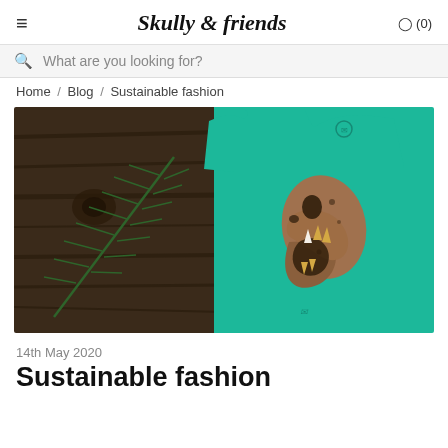≡   Skully & friends   ⌀ (0)
What are you looking for?
Home / Blog / Sustainable fashion
[Figure (photo): Photo of a teal/green t-shirt with a dinosaur skull graphic printed on it, laid on a dark wooden surface next to a fern leaf]
14th May 2020
Sustainable fashion